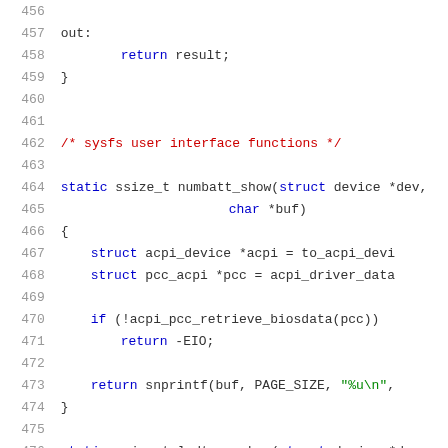Source code listing lines 456-476, C language kernel/driver code
456: (empty)
457: out:
458:         return result;
459: }
460: (empty)
461: (empty)
462: /* sysfs user interface functions */
463: (empty)
464: static ssize_t numbatt_show(struct device *dev,
465:                                 char *buf)
466: {
467:         struct acpi_device *acpi = to_acpi_devi
468:         struct pcc_acpi *pcc = acpi_driver_data
469: (empty)
470:         if (!acpi_pcc_retrieve_biosdata(pcc))
471:                 return -EIO;
472: (empty)
473:         return snprintf(buf, PAGE_SIZE, "%u\n",
474: }
475: (empty)
476: static ssize_t lcdtype_show(struct device *dev,